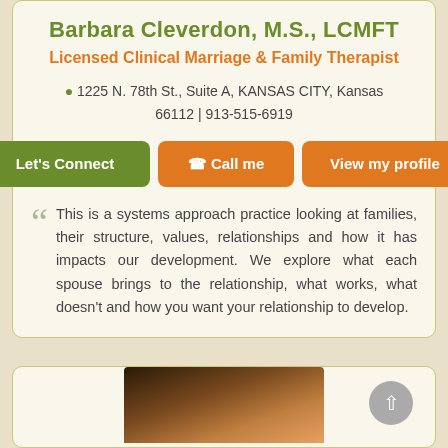Barbara Cleverdon, M.S., LCMFT
Licensed Clinical Marriage & Family Therapist
1225 N. 78th St., Suite A, KANSAS CITY, Kansas 66112 | 913-515-6919
Let's Connect | Call me | View my profile
This is a systems approach practice looking at families, their structure, values, relationships and how it has impacts our development. We explore what each spouse brings to the relationship, what works, what doesn't and how you want your relationship to develop.
[Figure (photo): Portrait photo of a person, partially visible at bottom of page]